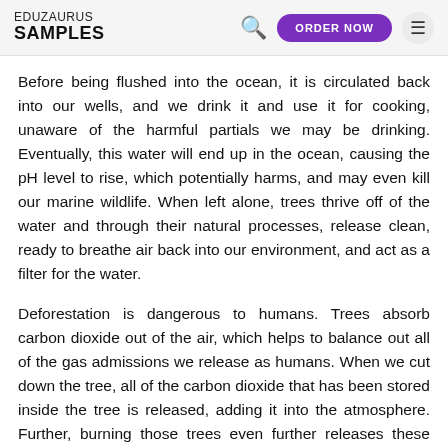EDUZAURUS SAMPLES
Before being flushed into the ocean, it is circulated back into our wells, and we drink it and use it for cooking, unaware of the harmful partials we may be drinking. Eventually, this water will end up in the ocean, causing the pH level to rise, which potentially harms, and may even kill our marine wildlife. When left alone, trees thrive off of the water and through their natural processes, release clean, ready to breathe air back into our environment, and act as a filter for the water.
Deforestation is dangerous to humans. Trees absorb carbon dioxide out of the air, which helps to balance out all of the gas admissions we release as humans. When we cut down the tree, all of the carbon dioxide that has been stored inside the tree is released, adding it into the atmosphere. Further, burning those trees even further releases these gases into the air we breathe. Deforestation by itself